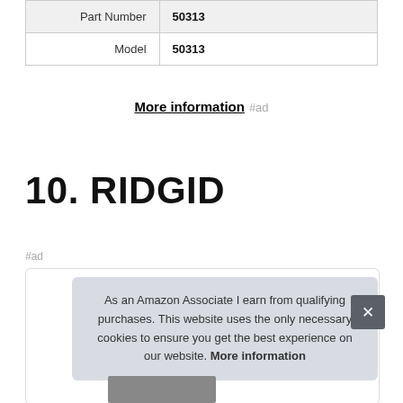| Part Number | 50313 |
| Model | 50313 |
More information #ad
10. RIDGID
#ad
As an Amazon Associate I earn from qualifying purchases. This website uses the only necessary cookies to ensure you get the best experience on our website. More information
[Figure (photo): Product image partially visible at bottom of card]